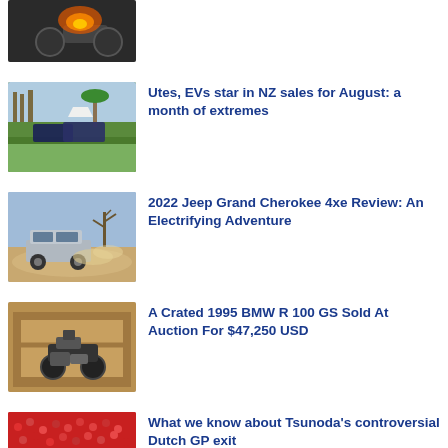[Figure (photo): Motorcycle with orange flames/lighting, partial view at top of page]
[Figure (photo): Cars parked on green grass with trees and palm tree in background]
Utes, EVs star in NZ sales for August: a month of extremes
[Figure (photo): Silver SUV driving off-road with dust and a bare tree in background]
2022 Jeep Grand Cherokee 4xe Review: An Electrifying Adventure
[Figure (photo): BMW motorcycle stored in a wooden crate]
A Crated 1995 BMW R 100 GS Sold At Auction For $47,250 USD
[Figure (photo): Formula 1 race scene with crowd in background and race car on track]
What we know about Tsunoda's controversial Dutch GP exit